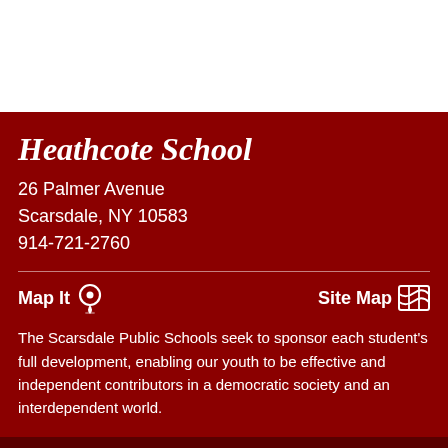Heathcote School
26 Palmer Avenue
Scarsdale, NY 10583
914-721-2760
Map It   Site Map
The Scarsdale Public Schools seek to sponsor each student's full development, enabling our youth to be effective and independent contributors in a democratic society and an interdependent world.
Blackboard